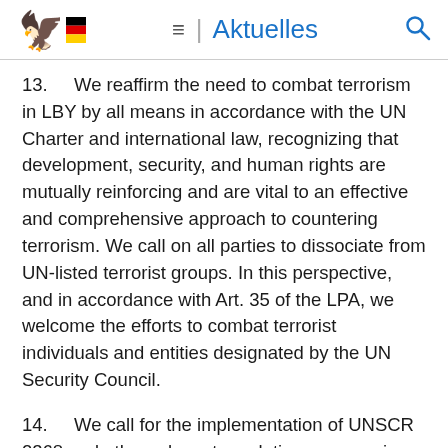≡ | Aktuelles 🔍
13.      We reaffirm the need to combat terrorism in LBY by all means in accordance with the UN Charter and international law, recognizing that development, security, and human rights are mutually reinforcing and are vital to an effective and comprehensive approach to countering terrorism. We call on all parties to dissociate from UN-listed terrorist groups. In this perspective, and in accordance with Art. 35 of the LPA, we welcome the efforts to combat terrorist individuals and entities designated by the UN Security Council.
14.      We call for the implementation of UNSCR 2368 and other relevant resolutions concerning ISIL